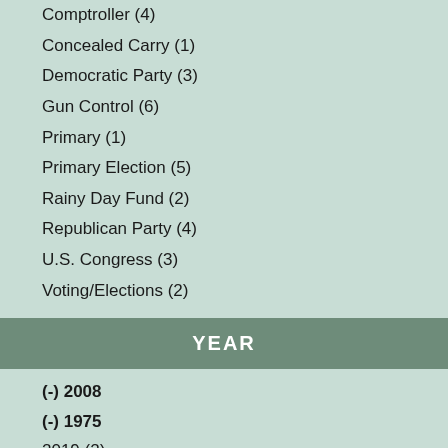Comptroller (4)
Concealed Carry (1)
Democratic Party (3)
Gun Control (6)
Primary (1)
Primary Election (5)
Rainy Day Fund (2)
Republican Party (4)
U.S. Congress (3)
Voting/Elections (2)
YEAR
(-) 2008
(-) 1975
2019 (2)
2018 (2)
2017 (2)
2016 (3)
2015 (2)